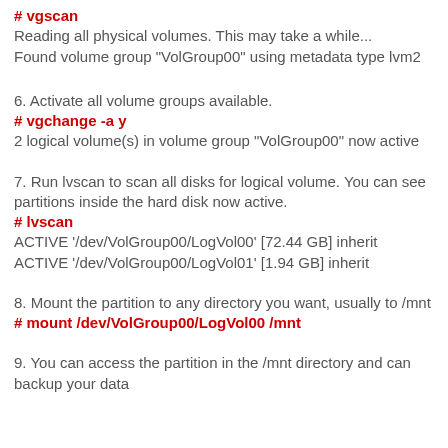# vgscan
Reading all physical volumes. This may take a while...
Found volume group "VolGroup00" using metadata type lvm2
6. Activate all volume groups available.
# vgchange -a y
2 logical volume(s) in volume group "VolGroup00" now active
7. Run lvscan to scan all disks for logical volume. You can see partitions inside the hard disk now active.
# lvscan
ACTIVE '/dev/VolGroup00/LogVol00' [72.44 GB] inherit
ACTIVE '/dev/VolGroup00/LogVol01' [1.94 GB] inherit
8. Mount the partition to any directory you want, usually to /mnt
# mount /dev/VolGroup00/LogVol00 /mnt
9. You can access the partition in the /mnt directory and can backup your data